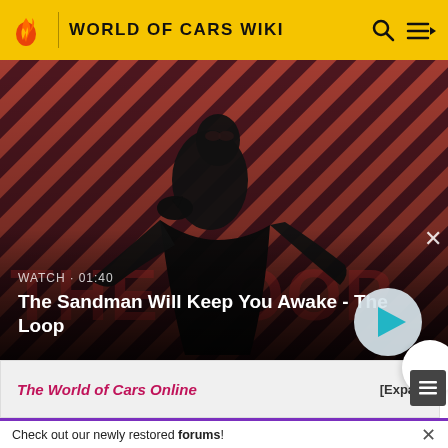WORLD OF CARS WIKI
[Figure (screenshot): Video thumbnail for 'The Sandman Will Keep You Awake - The Loop'. Shows a dark figure in a black coat with a raven on their shoulder, against a red and dark diagonal striped background. Text overlay reads WATCH · 01:40 and the title. A play button is visible on the right.]
WATCH · 01:40
The Sandman Will Keep You Awake - The Loop
The World of Cars Online   [Expan
Check out our newly restored forums!